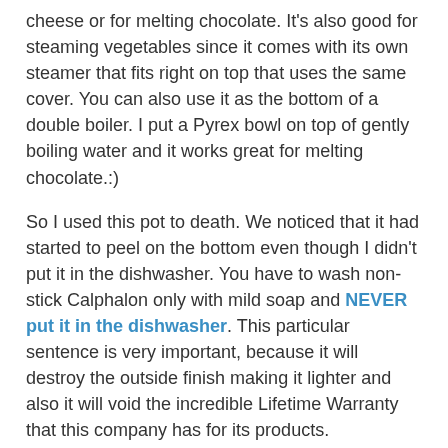cheese or for melting chocolate. It's also good for steaming vegetables since it comes with its own steamer that fits right on top that uses the same cover. You can also use it as the bottom of a double boiler. I put a Pyrex bowl on top of gently boiling water and it works great for melting chocolate.:)
So I used this pot to death. We noticed that it had started to peel on the bottom even though I didn't put it in the dishwasher. You have to wash non-stick Calphalon only with mild soap and NEVER put it in the dishwasher. This particular sentence is very important, because it will destroy the outside finish making it lighter and also it will void the incredible Lifetime Warranty that this company has for its products.
If you remember my post Why I Love Lions, I mentioned that I got a new pot. It was a replacement for this one, a two and half quart Calphalon non-stick Contemporary pot. So what did I do with this brand new pot this week? Yikes!!!! I put it in the dishwasher and OMG we had such a turmoil over this fact. I got confused about the directions, because we had been looking at so many pots and there were no instructions